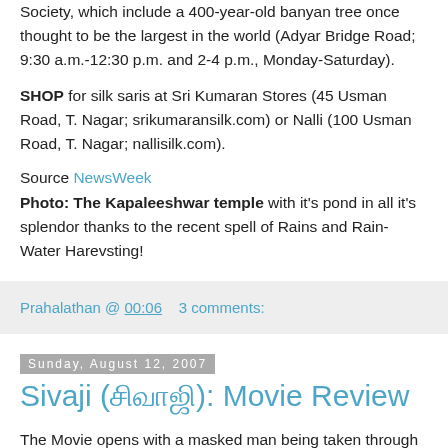Society, which include a 400-year-old banyan tree once thought to be the largest in the world (Adyar Bridge Road; 9:30 a.m.-12:30 p.m. and 2-4 p.m., Monday-Saturday).
SHOP for silk saris at Sri Kumaran Stores (45 Usman Road, T. Nagar; srikumaransilk.com) or Nalli (100 Usman Road, T. Nagar; nallisilk.com).
Source NewsWeek
Photo: The Kapaleeshwar temple with it's pond in all it's splendor thanks to the recent spell of Rains and Rain-Water Harevsting!
Prahalathan @ 00:06    3 comments:
Sunday, August 12, 2007
Sivaji (சிவாஜி): Movie Review
The Movie opens with a masked man being taken through thousands of chest beating men and women and locked up in the central prison, when a co-prisoner asks him what